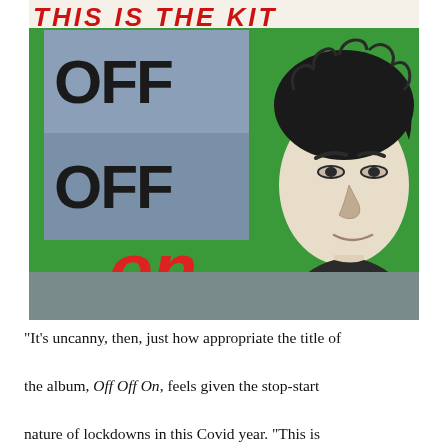[Figure (illustration): Album cover for 'This Is The Kit' - Off Off On. Features a collage-style design with green background, a blue-gray box with 'OFF OFF' printed in black block letters, 'on' in large red italic text below, a torn paper strip at top with the band name in red italic capitals, a portrait illustration of a person with curly hair on the right side, and a gray-green strip at the bottom.]
"It's uncanny, then, just how appropriate the title of the album, Off Off On, feels given the stop-start nature of lockdowns in this Covid year. "This is